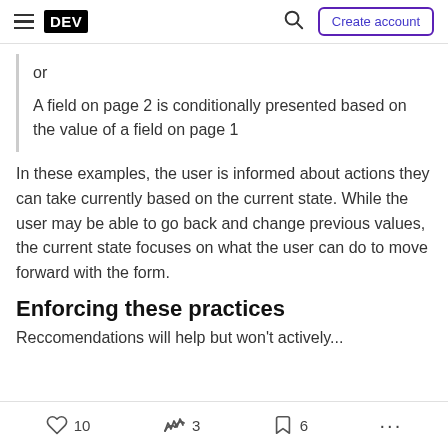DEV | Create account
or
A field on page 2 is conditionally presented based on the value of a field on page 1
In these examples, the user is informed about actions they can take currently based on the current state. While the user may be able to go back and change previous values, the current state focuses on what the user can do to move forward with the form.
Enforcing these practices
10   3   6   ...